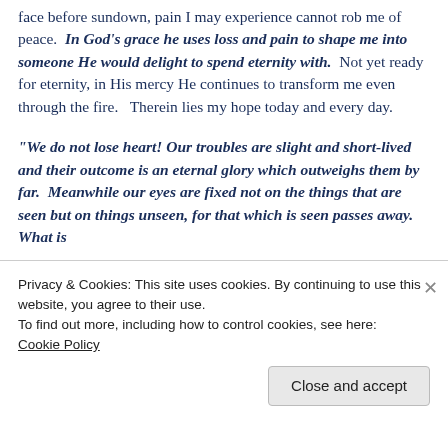face before sundown, pain I may experience cannot rob me of peace.  In God's grace he uses loss and pain to shape me into someone He would delight to spend eternity with.  Not yet ready for eternity, in His mercy He continues to transform me even through the fire.   Therein lies my hope today and every day.
“We do not lose heart! Our troubles are slight and short-lived and their outcome is an eternal glory which outweighs them by far.  Meanwhile our eyes are fixed not on the things that are seen but on things unseen, for that which is seen passes away.  What is
Privacy & Cookies: This site uses cookies. By continuing to use this website, you agree to their use.
To find out more, including how to control cookies, see here:
Cookie Policy
Close and accept